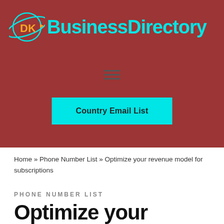[Figure (logo): DK BusinessDirectory logo with cyan globe icon and cyan text on dark red background]
[Figure (other): Hamburger menu icon (three horizontal lines) centered on dark red background]
Country Email List
Home » Phone Number List » Optimize your revenue model for subscriptions
PHONE NUMBER LIST
Optimize your revenue model for subscriptions